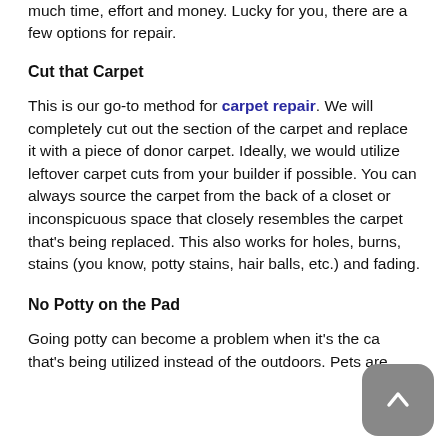much time, effort and money. Lucky for you, there are a few options for repair.
Cut that Carpet
This is our go-to method for carpet repair. We will completely cut out the section of the carpet and replace it with a piece of donor carpet. Ideally, we would utilize leftover carpet cuts from your builder if possible. You can always source the carpet from the back of a closet or inconspicuous space that closely resembles the carpet that's being replaced. This also works for holes, burns, stains (you know, potty stains, hair balls, etc.) and fading.
No Potty on the Pad
Going potty can become a problem when it's the ca that's being utilized instead of the outdoors. Pets are